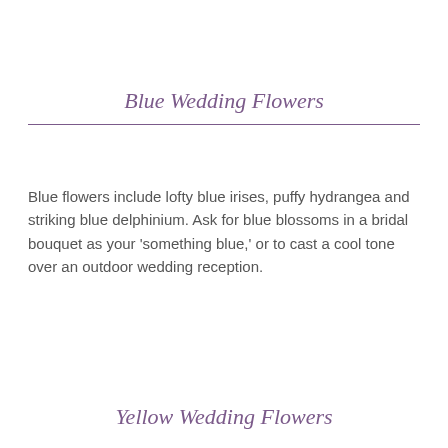Blue Wedding Flowers
Blue flowers include lofty blue irises, puffy hydrangea and striking blue delphinium. Ask for blue blossoms in a bridal bouquet as your 'something blue,' or to cast a cool tone over an outdoor wedding reception.
Yellow Wedding Flowers